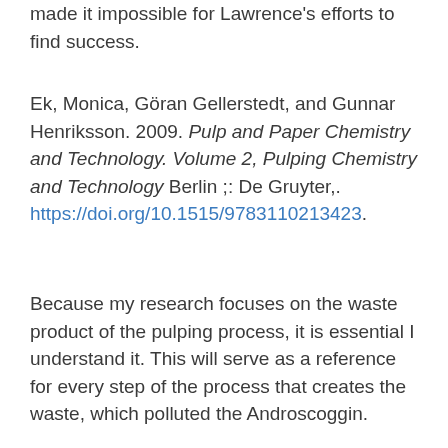made it impossible for Lawrence's efforts to find success.
Ek, Monica, Göran Gellerstedt, and Gunnar Henriksson. 2009. Pulp and Paper Chemistry and Technology. Volume 2, Pulping Chemistry and Technology Berlin ;: De Gruyter,. https://doi.org/10.1515/9783110213423.
Because my research focuses on the waste product of the pulping process, it is essential I understand it. This will serve as a reference for every step of the process that creates the waste, which polluted the Androscoggin.